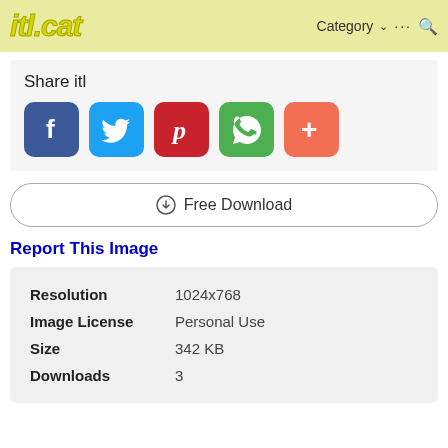itl.cat  Category ... 🔍
Share itl
[Figure (infographic): Social share buttons: Facebook, Twitter, Pinterest, WhatsApp, More]
☁ Free Download
Report This Image
| Field | Value |
| --- | --- |
| Resolution | 1024x768 |
| Image License | Personal Use |
| Size | 342 KB |
| Downloads | 3 |